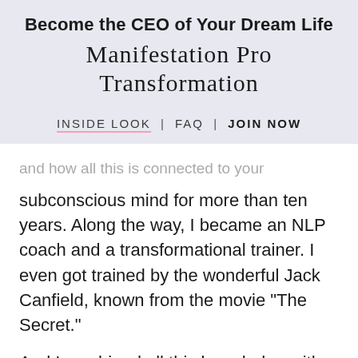Become the CEO of Your Dream Life
Manifestation Pro Transformation
INSIDE LOOK  |  FAQ  |  JOIN NOW
and how all this is connected to your subconscious mind for more than ten years. Along the way, I became an NLP coach and a transformational trainer. I even got trained by the wonderful Jack Canfield, known from the movie “The Secret.”
And I combined all this knowledge with my own signature manifestation method,